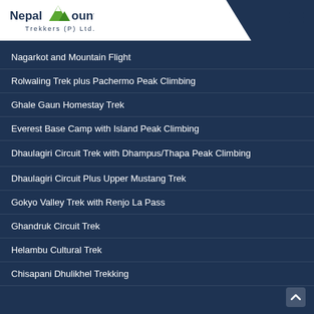[Figure (logo): Nepal Mountain Trekkers (P) Ltd. logo with green mountain peak icon]
Nagarkot and Mountain Flight
Rolwaling Trek plus Pachermo Peak Climbing
Ghale Gaun Homestay Trek
Everest Base Camp with Island Peak Climbing
Dhaulagiri Circuit Trek with Dhampus/Thapa Peak Climbing
Dhaulagiri Circuit Plus Upper Mustang Trek
Gokyo Valley Trek with Renjo La Pass
Ghandruk Circuit Trek
Helambu Cultural Trek
Chisapani Dhulikhel Trekking